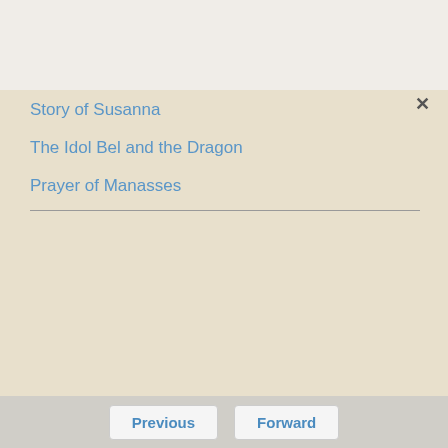Story of Susanna
The Idol Bel and the Dragon
Prayer of Manasses
Previous   Forward